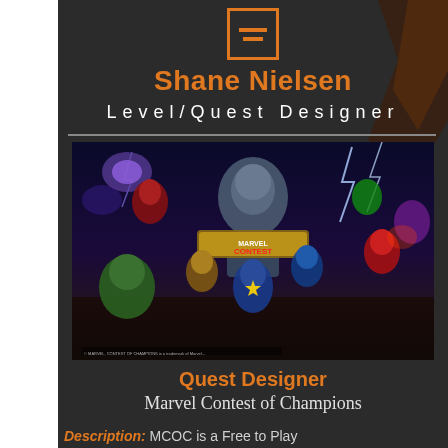Shane Nielsen
Level/Quest Designer
[Figure (illustration): Marvel Contest of Champions promotional artwork showing multiple Marvel superhero characters in action poses against a dramatic stormy background with the game logo.]
Quest Designer
Marvel Contest of Champions
Description: MCOC is a Free to Play